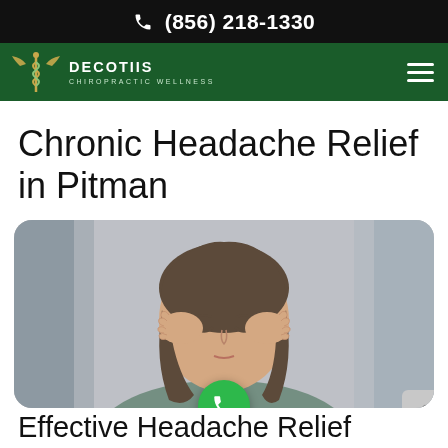(856) 218-1330
[Figure (logo): DeCotiis Chiropractic Wellness logo with caduceus emblem on dark green navigation bar]
Chronic Headache Relief in Pitman
[Figure (photo): Woman holding her head in her hands with eyes closed, appearing to suffer from a headache, with a green phone call button overlaid at the bottom center]
Effective Headache Relief